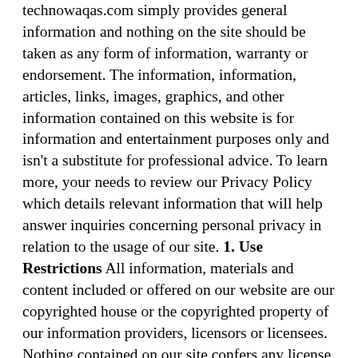technowaqas.com simply provides general information and nothing on the site should be taken as any form of information, warranty or endorsement. The information, information, articles, links, images, graphics, and other information contained on this website is for information and entertainment purposes only and isn't a substitute for professional advice. To learn more, your needs to review our Privacy Policy which details relevant information that will help answer inquiries concerning personal privacy in relation to the usage of our site. 1. Use Restrictions All information, materials and content included or offered on our website are our copyrighted house or the copyrighted property of our information providers, licensors or licensees. Nothing contained on our site confers any license, right, title, or interest in or into our intellectual property or any third party's intellectual property (including but not limited to patents, copyrights and trademarks) in any kind by implication, estoppel, or otherwise. No content or material from our website may